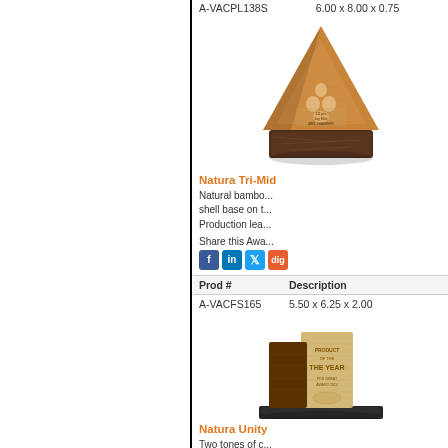| Prod # | Description |
| --- | --- |
| A-VACPL138S | 6.00 x 8.00 x 0.75 |
[Figure (photo): Natura Tri-Mid award - triangular bamboo award with shell base on marble/stone base, engraved with text]
Natura Tri-Mid
Natural bambo... shell base on t...
Production lea...
Share this Awa...
| Prod # | Description |
| --- | --- |
| A-VACFS165 | 5.50 x 6.25 x 2.00 |
[Figure (photo): Natura Unity award - two tone bamboo and dark wood rectangular award with engraving]
Natura Unity
Two tones of c... for this award t...
Production lea...
Share this Awa...